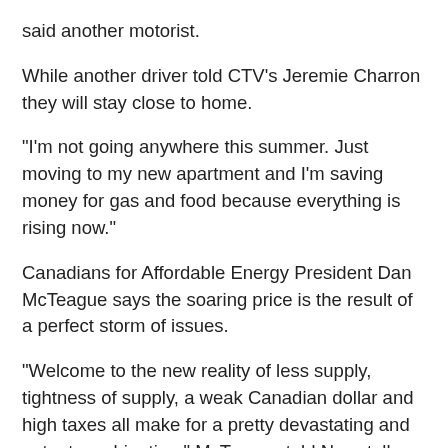said another motorist.
While another driver told CTV's Jeremie Charron they will stay close to home.
"I'm not going anywhere this summer. Just moving to my new apartment and I'm saving money for gas and food because everything is rising now."
Canadians for Affordable Energy President Dan McTeague says the soaring price is the result of a perfect storm of issues.
"Welcome to the new reality of less supply, tightness of supply, a weak Canadian dollar and high taxes all make for a pretty devastating and potent combination." McTeague told Newstalk 580 CFRA's Ottawa at Work with Leslie Roberts on Friday.
One year ago, gas was selling for $1.24 a litre in Ottawa. In